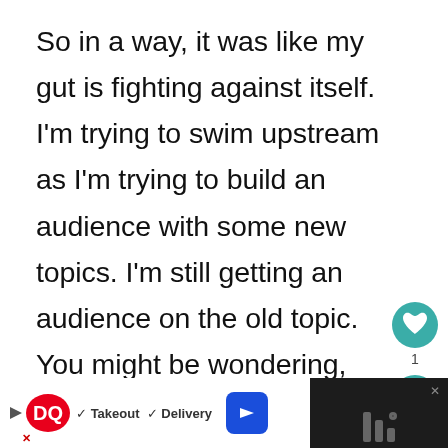So in a way, it was like my gut is fighting against itself. I'm trying to swim upstream as I'm trying to build an audience with some new topics. I'm still getting an audience on the old topic. You might be wondering, what's the big deal? So you were right. But the people finding me from my old content, the GoPro content, are not going to be interested in my new content. Why didn't I see that? So what did work? What did I do ri
[Figure (other): Like (heart) button with teal circle and count of 1, and share button with teal circle, positioned on the right side of the page]
[Figure (other): Advertisement bar at bottom: DQ (Dairy Queen) logo with checkmarks for Takeout and Delivery, blue arrow button, black panel with X close button on right side]